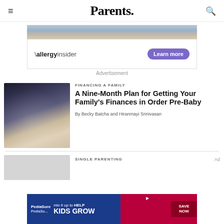Parents.
[Figure (infographic): Allergy insider advertisement banner with 'allergy insider' branding and 'Learn more' button]
Advertisement
[Figure (photo): Person using a calculator at a desk with papers and a laptop]
FINANCING A FAMILY
A Nine-Month Plan for Getting Your Family's Finances in Order Pre-Baby
By Becky Batcha and Hiranmayi Srinivasan
SINGLE PARENTING
[Figure (infographic): PediaSure advertisement: mix it up to HELP KIDS GROW, SAVE NOW]